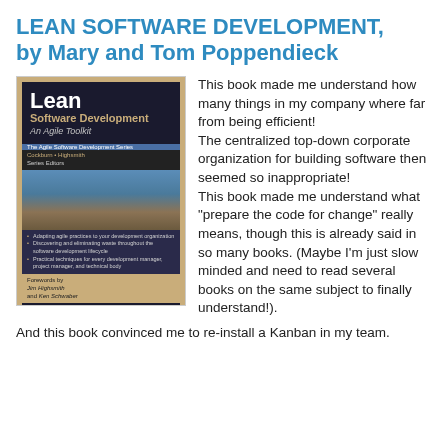LEAN SOFTWARE DEVELOPMENT, by Mary and Tom Poppendieck
[Figure (photo): Book cover of Lean Software Development: An Agile Toolkit by Mary Poppendieck and Tom Poppendieck, with forewords by Jim Highsmith and Ken Schwaber]
This book made me understand how many things in my company where far from being efficient! The centralized top-down corporate organization for building software then seemed so inappropriate! This book made me understand what "prepare the code for change" really means, though this is already said in so many books. (Maybe I'm just slow minded and need to read several books on the same subject to finally understand!). And this book convinced me to re-install a Kanban in my team.